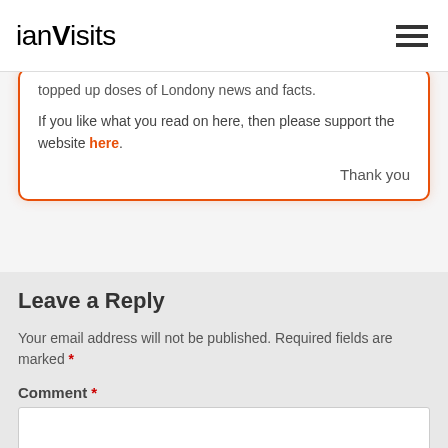ianVisits
topped up doses of Londony news and facts.
If you like what you read on here, then please support the website here.
Thank you
Leave a Reply
Your email address will not be published. Required fields are marked *
Comment *